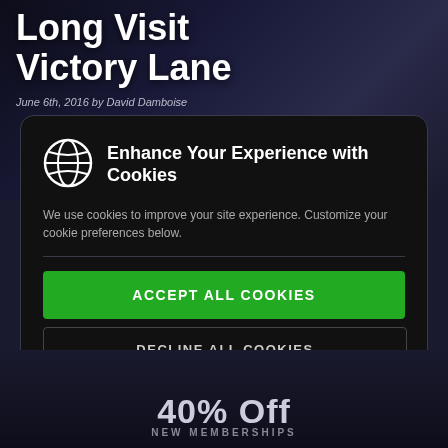Long Visit Victory Lane
June 6th, 2016 by David Damboise
Enhance Your Experience with Cookies
We use cookies to improve your site experience. Customize your cookie preferences below.
ACCEPT ALL COOKIES
DECLINE ALL COOKIES
CUSTOMIZE COOKIES
40% Off NEW MEMBERSHIPS